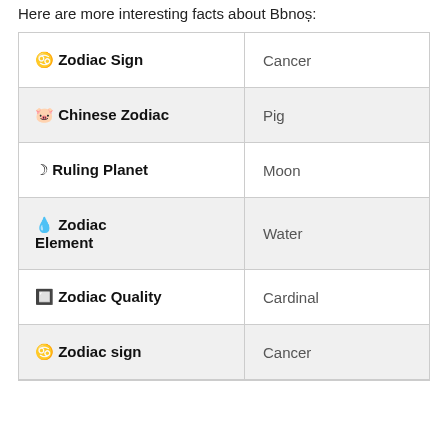Here are more interesting facts about Bbnoș:
| ♋ Zodiac Sign | Cancer |
| 🐷 Chinese Zodiac | Pig |
| ☽ Ruling Planet | Moon |
| 💧 Zodiac Element | Water |
| 🔲 Zodiac Quality | Cardinal |
| ♋ Zodiac sign | Cancer |